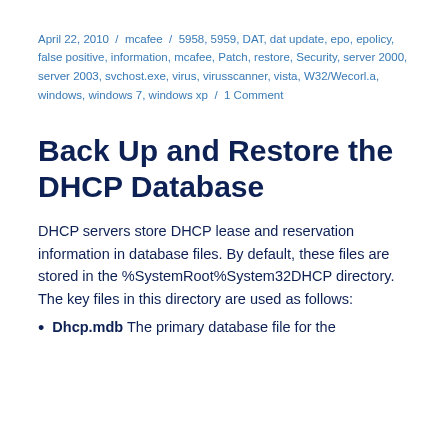April 22, 2010 / mcafee / 5958, 5959, DAT, dat update, epo, epolicy, false positive, information, mcafee, Patch, restore, Security, server 2000, server 2003, svchost.exe, virus, virusscanner, vista, W32/Wecorl.a, windows, windows 7, windows xp / 1 Comment
Back Up and Restore the DHCP Database
DHCP servers store DHCP lease and reservation information in database files. By default, these files are stored in the %SystemRoot%System32DHCP directory. The key files in this directory are used as follows:
Dhcp.mdb The primary database file for the